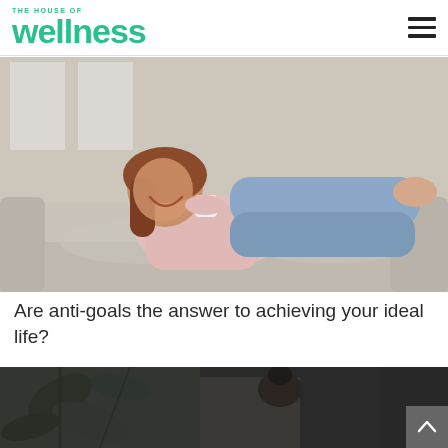The House of Wellness
[Figure (photo): A woman laughing and relaxing on a beige sofa, wearing a pink blouse and blue jeans, holding a white mug]
Are anti-goals the answer to achieving your ideal life?
[Figure (photo): A dark moody indoor scene with a person with hair in a bun, partially visible, and a decorative leaf mural on the wall]